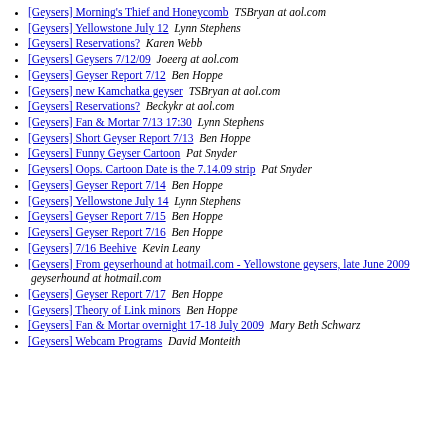[Geysers] Morning's Thief and Honeycomb  TSBryan at aol.com
[Geysers] Yellowstone July 12  Lynn Stephens
[Geysers] Reservations?  Karen Webb
[Geysers] Geysers 7/12/09  Joeerg at aol.com
[Geysers] Geyser Report 7/12  Ben Hoppe
[Geysers] new Kamchatka geyser  TSBryan at aol.com
[Geysers] Reservations?  Beckykr at aol.com
[Geysers] Fan & Mortar 7/13 17:30  Lynn Stephens
[Geysers] Short Geyser Report 7/13  Ben Hoppe
[Geysers] Funny Geyser Cartoon  Pat Snyder
[Geysers] Oops. Cartoon Date is the 7.14.09 strip  Pat Snyder
[Geysers] Geyser Report 7/14  Ben Hoppe
[Geysers] Yellowstone July 14  Lynn Stephens
[Geysers] Geyser Report 7/15  Ben Hoppe
[Geysers] Geyser Report 7/16  Ben Hoppe
[Geysers] 7/16 Beehive  Kevin Leany
[Geysers] From geyserhound at hotmail.com - Yellowstone geysers, late June 2009  geyserhound at hotmail.com
[Geysers] Geyser Report 7/17  Ben Hoppe
[Geysers] Theory of Link minors  Ben Hoppe
[Geysers] Fan & Mortar overnight 17-18 July 2009  Mary Beth Schwarz
[Geysers] Webcam Programs  David Monteith